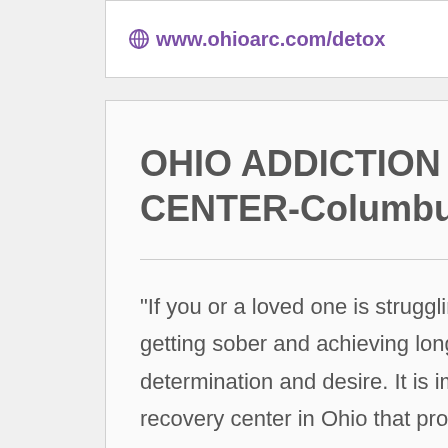www.ohioarc.com/detox
OHIO ADDICTION RECOVERY CENTER-Columbus
"If you or a loved one is struggling with alcohol and drug addiction, getting sober and achieving long-term recovery requires determination and desire. It is important to find an addiction recovery center in Ohio that provides the services and